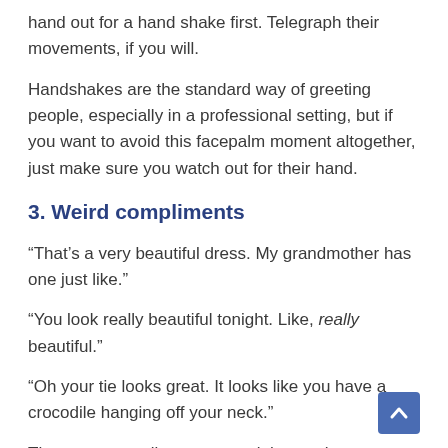hand out for a hand shake first. Telegraph their movements, if you will.
Handshakes are the standard way of greeting people, especially in a professional setting, but if you want to avoid this facepalm moment altogether, just make sure you watch out for their hand.
3. Weird compliments
“That’s a very beautiful dress. My grandmother has one just like.”
“You look really beautiful tonight. Like, really beautiful.”
“Oh your tie looks great. It looks like you have a crocodile hanging off your neck.”
These are compliments one might say that someone else